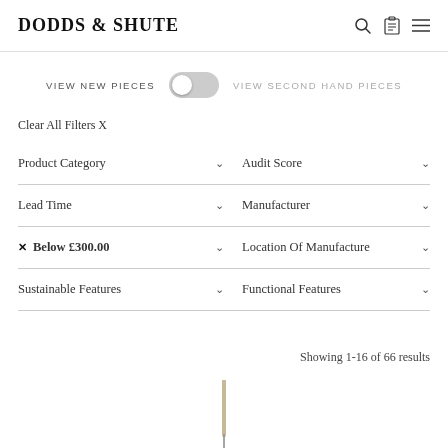DODDS & SHUTE
VIEW NEW PIECES   [toggle]   VIEW SECOND HAND PIECES
Clear All Filters X
Product Category
Audit Score
Lead Time
Manufacturer
× Below £300.00
Location Of Manufacture
Sustainable Features
Functional Features
Showing 1-16 of 66 results
[Figure (photo): Partial view of a thin tool or instrument handle at bottom center of page]